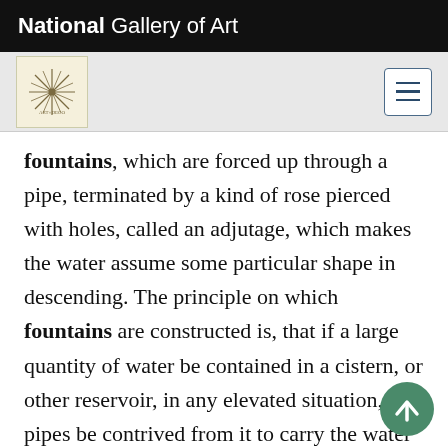National Gallery of Art
[Figure (logo): Navigation bar with a decorative compass/star logo on the left and a hamburger menu button on the right, on a light grey background]
fountains, which are forced up through a pipe, terminated by a kind of rose pierced with holes, called an adjutage, which makes the water assume some particular shape in descending. The principle on which fountains are constructed is, that if a large quantity of water be contained in a cistern, or other reservoir, in any elevated situation, and pipes be contrived from it to carry the water down to the ground, and along its surface, that the water will always attempt to rise to its own level the mo it can find a vent. . . . The height to which a water will ascend, therefore, depends on the height